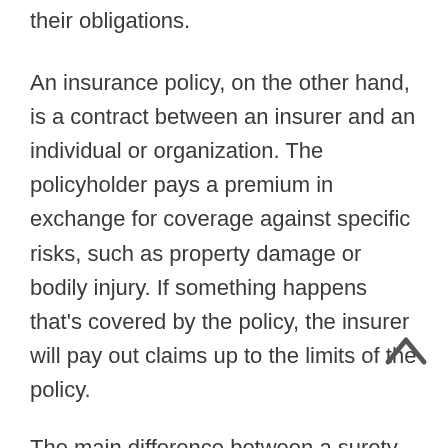their obligations.
An insurance policy, on the other hand, is a contract between an insurer and an individual or organization. The policyholder pays a premium in exchange for coverage against specific risks, such as property damage or bodily injury. If something happens that's covered by the policy, the insurer will pay out claims up to the limits of the policy.
The main difference between a surety bond and an insurance policy is that a surety bond protects against the default of the obligor, while an insurance policy protects against specific risks. A surety bond is also typically